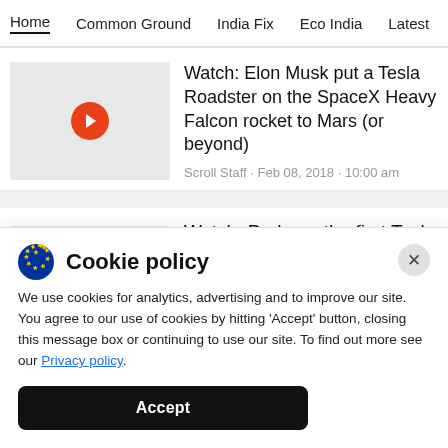Home  Common Ground  India Fix  Eco India  Latest  Th
Watch: Elon Musk put a Tesla Roadster on the SpaceX Heavy Falcon rocket to Mars (or beyond)
Scroll Staff · Feb 08, 2018 · 10:00 am
Watch: Perhaps the first Tesla X to
Cookie policy
We use cookies for analytics, advertising and to improve our site. You agree to our use of cookies by hitting 'Accept' button, closing this message box or continuing to use our site. To find out more see our Privacy policy.